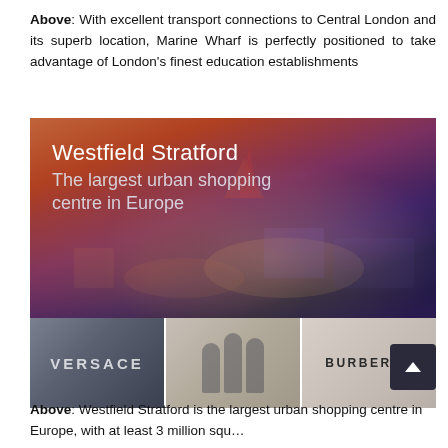Above: With excellent transport connections to Central London and its superb location, Marine Wharf is perfectly positioned to take advantage of London's finest education establishments
[Figure (photo): Aerial night view of Westfield Stratford shopping centre with text overlay 'Westfield Stratford – The largest urban shopping centre in Europe', plus three smaller photos below showing Versace store sign, shoppers, and Burberry store sign]
Above: Westfield Stratford is the largest urban shopping centre in Europe, with at least 3 million square feet of retail, from the familiar…